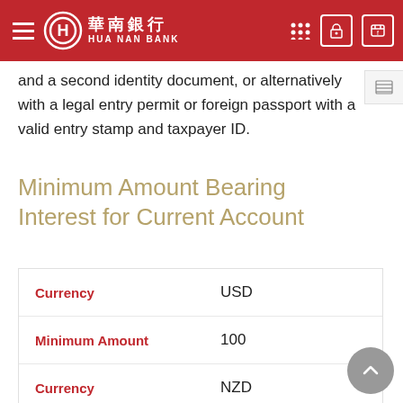HUA NAN BANK / 華南銀行
and a second identity document, or alternatively with a legal entry permit or foreign passport with a valid entry stamp and taxpayer ID.
Minimum Amount Bearing Interest for Current Account
|  |  |
| --- | --- |
| Currency | USD |
| Minimum Amount | 100 |
| Currency | NZD |
| Minimum Amount | 100 |